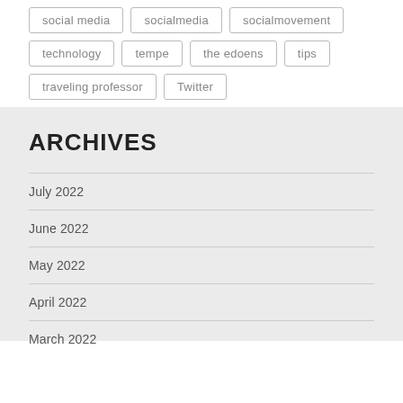social media
socialmedia
socialmovement
technology
tempe
the edoens
tips
traveling professor
Twitter
ARCHIVES
July 2022
June 2022
May 2022
April 2022
March 2022